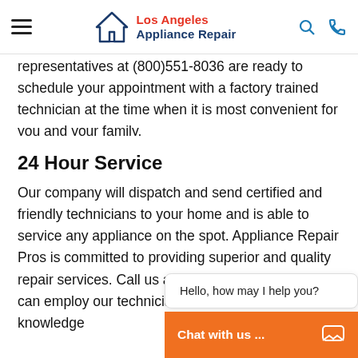Los Angeles Appliance Repair
representatives at (800)551-8036 are ready to schedule your appointment with a factory trained technician at the time when it is most convenient for you and your family.
24 Hour Service
Our company will dispatch and send certified and friendly technicians to your home and is able to service any appliance on the spot. Appliance Repair Pros is committed to providing superior and quality repair services. Call us at (800)551-8036 and we can employ our technicians with extensive knowledge
[Figure (screenshot): Live chat widget overlay with bubble saying 'Hello, how may I help you?' and orange bar with 'Chat with us ...' text and chat icon]